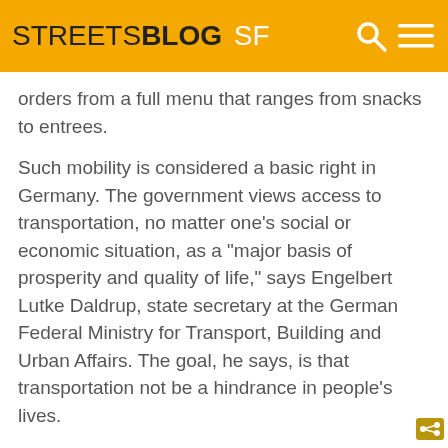STREETSBLOG SF
orders from a full menu that ranges from snacks to entrees.
Such mobility is considered a basic right in Germany. The government views access to transportation, no matter one's social or economic situation, as a "major basis of prosperity and quality of life," says Engelbert Lutke Daldrup, state secretary at the German Federal Ministry for Transport, Building and Urban Affairs. The goal, he says, is that transportation not be a hindrance in people's lives.